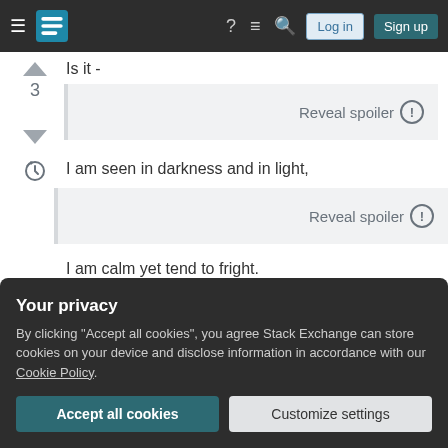[Figure (screenshot): Stack Exchange navigation bar with logo, hamburger menu, icons for help, chat, search, and Log in / Sign up buttons]
Is it -
Reveal spoiler
I am seen in darkness and in light,
Reveal spoiler
I am calm yet tend to fright.
Your privacy
By clicking "Accept all cookies", you agree Stack Exchange can store cookies on your device and disclose information in accordance with our Cookie Policy.
Accept all cookies
Customize settings
Reveal spoiler